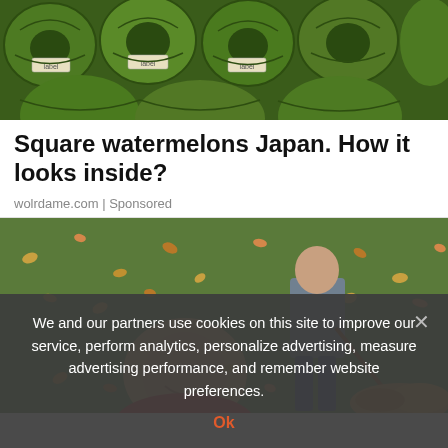[Figure (photo): Close-up photo of square watermelons with green skin and labels, arranged in rows from above]
Square watermelons Japan. How it looks inside?
wolrdame.com | Sponsored
[Figure (photo): Overhead photo of a man and woman raking autumn leaves on a green lawn]
We and our partners use cookies on this site to improve our service, perform analytics, personalize advertising, measure advertising performance, and remember website preferences.
Ok